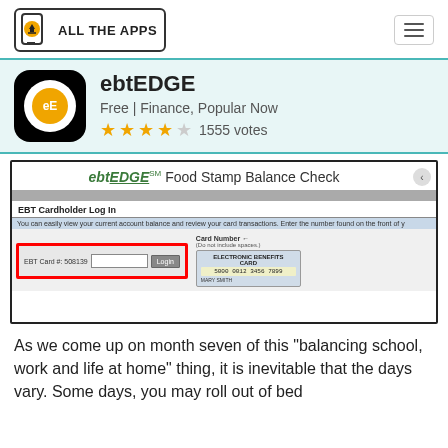[Figure (logo): All The Apps logo with download icon and border]
[Figure (screenshot): ebtEDGE app listing showing icon, title, rating, and app screenshot of EBT Cardholder Log In page with food stamp balance check]
As we come up on month seven of this "balancing school, work and life at home" thing, it is inevitable that the days vary. Some days, you may roll out of bed